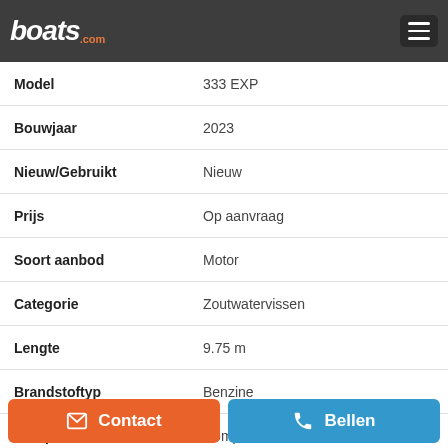boats.com
| Veld | Waarde |
| --- | --- |
| Model | 333 EXP |
| Bouwjaar | 2023 |
| Nieuw/Gebruikt | Nieuw |
| Prijs | Op aanvraag |
| Soort aanbod | Motor |
| Categorie | Zoutwatervissen |
| Lengte | 9.75 m |
| Brandstoftyp | Benzine |
| Rompmateriaal | Composiet |
| Locatie | Sarasota, Florida, Verenigde Staten |
Afmetingen
Contact
Bellen